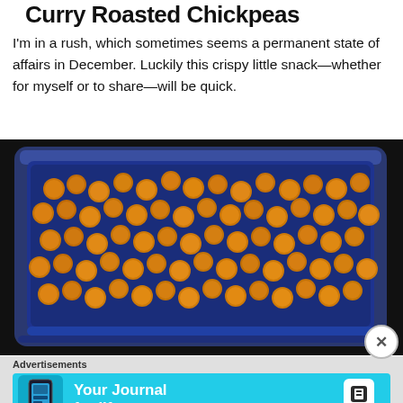Curry Roasted Chickpeas
I'm in a rush, which sometimes seems a permanent state of affairs in December. Luckily this crispy little snack—whether for myself or to share—will be quick.
[Figure (photo): A blue ceramic rectangular dish filled with golden-brown curry roasted chickpeas, photographed on a dark background.]
Advertisements
[Figure (screenshot): Advertisement banner for Day One app with cyan background, showing 'Your Journal for life' text and Day One logo.]